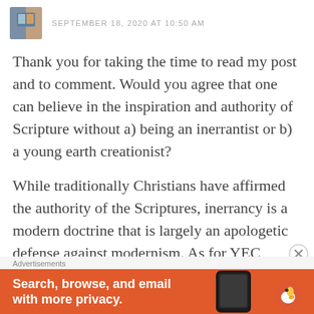SEPTEMBER 18, 2020 AT 10:50 AM
Thank you for taking the time to read my post and to comment. Would you agree that one can believe in the inspiration and authority of Scripture without a) being an inerrantist or b) a young earth creationist?
While traditionally Christians have affirmed the authority of the Scriptures, inerrancy is a modern doctrine that is largely an apologetic defense against modernism. As for YEC, while some as far back as Theodosius of Antioch argued for a
Advertisements
[Figure (screenshot): DuckDuckGo advertisement banner with orange background, text 'Search, browse, and email with more privacy.' and a phone illustration]